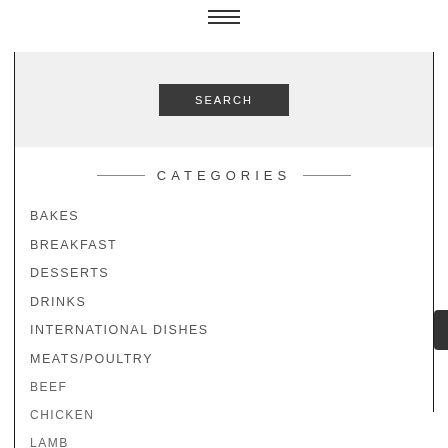[Figure (other): Hamburger menu icon with three horizontal lines]
[Figure (screenshot): Search button area with dark background and 'SEARCH' label on grey background]
CATEGORIES
BAKES
BREAKFAST
DESSERTS
DRINKS
INTERNATIONAL DISHES
MEATS/POULTRY
BEEF
CHICKEN
LAMB